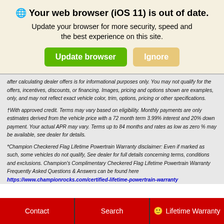🌐 Your web browser (iOS 11) is out of date. Update your browser for more security, speed and the best experience on this site.
[Figure (screenshot): Two buttons: green 'Update browser' and tan/gold 'Ignore']
after calculating dealer offers is for informational purposes only. You may not qualify for the offers, incentives, discounts, or financing. Images, pricing and options shown are examples, only, and may not reflect exact vehicle color, trim, options, pricing or other specifications.
†With approved credit. Terms may vary based on eligibility. Monthly payments are only estimates derived from the vehicle price with a 72 month term 3.99% interest and 20% down payment. Your actual APR may vary. Terms up to 84 months and rates as low as zero % may be available, see dealer for details.
*Champion Checkered Flag Lifetime Powertrain Warranty disclaimer: Even if marked as such, some vehicles do not qualify, See dealer for full details concerning terms, conditions and exclusions. Champion's Complimentary Checkered Flag Lifetime Powertrain Warranty Frequently Asked Questions & Answers can be found here https://www.championrocks.com/certified-lifetime-powertrain-warranty
Contact | Search | Lifetime Warranty